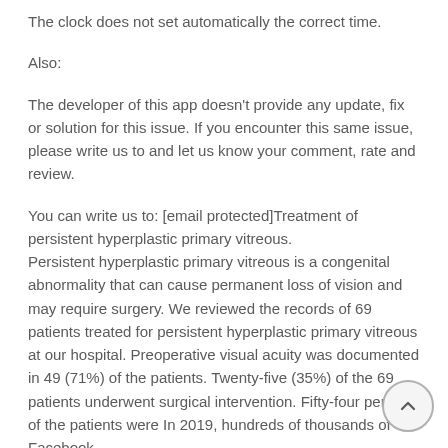The clock does not set automatically the correct time.
Also:
The developer of this app doesn't provide any update, fix or solution for this issue. If you encounter this same issue, please write us to and let us know your comment, rate and review.
You can write us to: [email protected] Treatment of persistent hyperplastic primary vitreous.
Persistent hyperplastic primary vitreous is a congenital abnormality that can cause permanent loss of vision and may require surgery. We reviewed the records of 69 patients treated for persistent hyperplastic primary vitreous at our hospital. Preoperative visual acuity was documented in 49 (71%) of the patients. Twenty-five (35%) of the 69 patients underwent surgical intervention. Fifty-four percent of the patients were In 2019, hundreds of thousands of Facebook